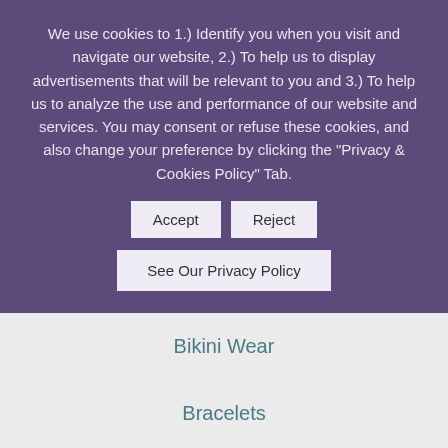We use cookies to 1.) Identify you when you visit and navigate our website, 2.) To help us to display advertisements that will be relevant to you and 3.) To help us to analyze the use and performance of our website and services. You may consent or refuse these cookies, and also change your preference by clicking the "Privacy & Cookies Policy" Tab.
Accept
Reject
See Our Privacy Policy
Bikini Wear
Bracelets
Necklaces
Skirts and Dresses